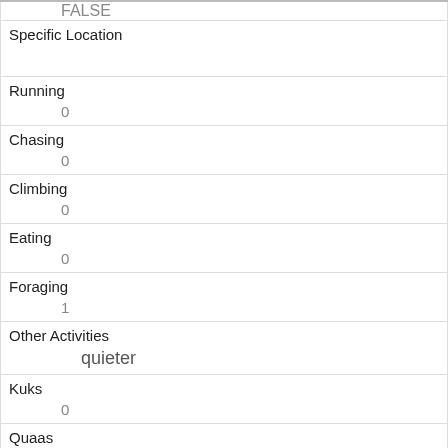| FALSE |
| Specific Location |  |
| Running | 0 |
| Chasing | 0 |
| Climbing | 0 |
| Eating | 0 |
| Foraging | 1 |
| Other Activities | quieter |
| Kuks | 0 |
| Quaas | 0 |
| Moans | 0 |